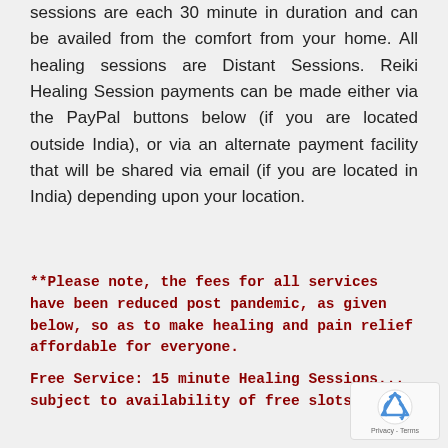sessions are each 30 minute in duration and can be availed from the comfort from your home. All healing sessions are Distant Sessions. Reiki Healing Session payments can be made either via the PayPal buttons below (if you are located outside India), or via an alternate payment facility that will be shared via email (if you are located in India) depending upon your location.
**Please note, the fees for all services have been reduced post pandemic, as given below, so as to make healing and pain relief affordable for everyone.
Free Service: 15 minute Healing Sessions... subject to availability of free slots.